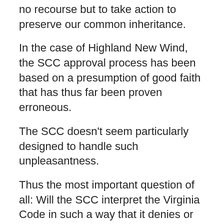no recourse but to take action to preserve our common inheritance.
In the case of Highland New Wind, the SCC approval process has been based on a presumption of good faith that has thus far been proven erroneous.
The SCC doesn't seem particularly designed to handle such unpleasantness.
Thus the most important question of all: Will the SCC interpret the Virginia Code in such a way that it denies or confirms a multi-dimensional commitment to “the public interest?”
Will the SCC dare to address a problem like Highland New Wind? Or will the Commission deny such problems exist?
A legal definition of “the public interest” rests on their